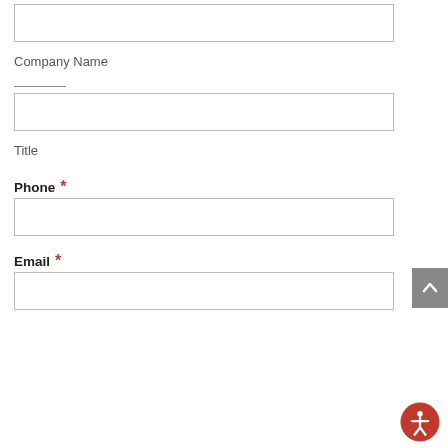[Figure (other): Empty form input field for Company Name (top input box)]
Company Name
[Figure (other): Horizontal divider line]
[Figure (other): Empty form input field for Company Name text entry]
Title
Phone *
[Figure (other): Empty form input field for Phone]
Email *
[Figure (other): Empty form input field for Email]